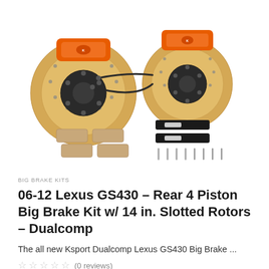[Figure (photo): Product photo of a big brake kit showing two large orange calipers with drilled and slotted rotors, brake pads, brake lines, mounting hardware and clips laid out on a white background.]
BIG BRAKE KITS
06-12 Lexus GS430 – Rear 4 Piston Big Brake Kit w/ 14 in. Slotted Rotors – Dualcomp
The all new Ksport Dualcomp Lexus GS430 Big Brake ...
(0 reviews)